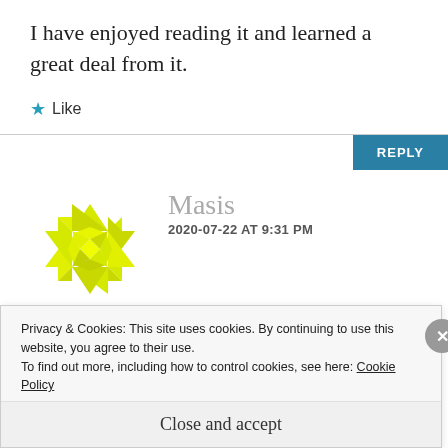I have enjoyed reading it and learned a great deal from it.
★ Like
REPLY
Masis
2020-07-22 AT 9:31 PM
Betula
Privacy & Cookies: This site uses cookies. By continuing to use this website, you agree to their use.
To find out more, including how to control cookies, see here: Cookie Policy
Close and accept